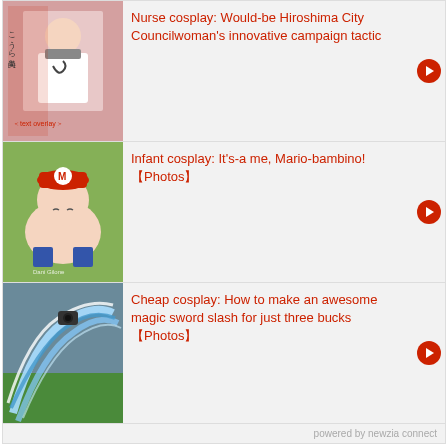[Figure (photo): Thumbnail image of a woman in nurse cosplay holding a sign with Japanese text]
Nurse cosplay: Would-be Hiroshima City Councilwoman's innovative campaign tactic
[Figure (photo): Thumbnail image of an infant wearing a red Mario-style crocheted hat lying on green background]
Infant cosplay: It's-a me, Mario-bambino! 【Photos】
[Figure (photo): Thumbnail image of a prop or effect showing a blue magic sword slash effect]
Cheap cosplay: How to make an awesome magic sword slash for just three bucks 【Photos】
powered by newzia connect
Leave a Comment